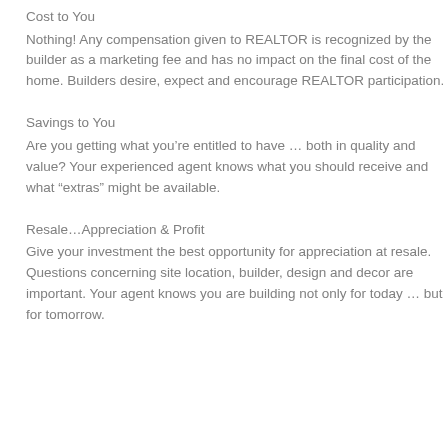Cost to You
Nothing! Any compensation given to REALTOR is recognized by the builder as a marketing fee and has no impact on the final cost of the home. Builders desire, expect and encourage REALTOR participation.
Savings to You
Are you getting what you’re entitled to have … both in quality and value? Your experienced agent knows what you should receive and what “extras” might be available.
Resale…Appreciation & Profit
Give your investment the best opportunity for appreciation at resale. Questions concerning site location, builder, design and decor are important. Your agent knows you are building not only for today … but for tomorrow.